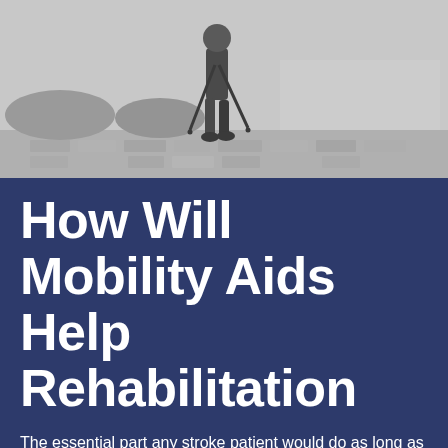[Figure (photo): Black and white photograph of a person using two walking poles/canes walking on a cobblestone or paved path outdoors]
How Will Mobility Aids Help Rehabilitation
The essential part any stroke patient would do as long as rehabilitation is concerned is to revive the normal movement.
The mobility aids that a stroke patient requires